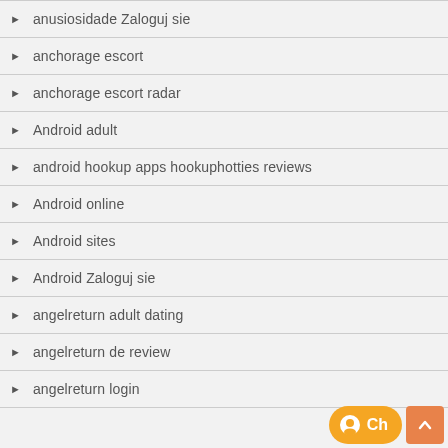anusiosidade Zaloguj sie
anchorage escort
anchorage escort radar
Android adult
android hookup apps hookuphotties reviews
Android online
Android sites
Android Zaloguj sie
angelreturn adult dating
angelreturn de review
angelreturn login